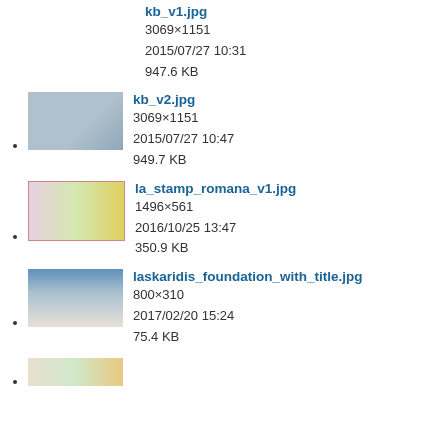kb_v1.jpg
3069×1151
2015/07/27 10:31
947.6 KB
kb_v2.jpg
3069×1151
2015/07/27 10:47
949.7 KB
la_stamp_romana_v1.jpg
1496×561
2016/10/25 13:47
350.9 KB
laskaridis_foundation_with_title.jpg
800×310
2017/02/20 15:24
75.4 KB
(partial thumbnail visible)